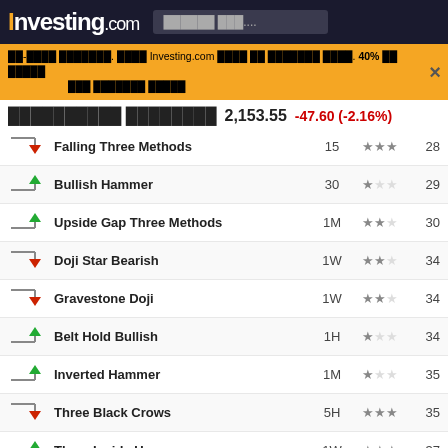Investing.com
40% ██ █████ ██ ██████ █████. Investing.com █████ ██ ████████ ████. 40% ██ █████ ███ ███████ █████
██████████ ████████  2,153.55  -47.60 (-2.16%)
| Icon | Pattern | Period | Stars | Num |
| --- | --- | --- | --- | --- |
| ▼ | Falling Three Methods | 15 | ★★★ | 28 |
| ▲ | Bullish Hammer | 30 | ★ | 29 |
| ▲ | Upside Gap Three Methods | 1M | ★★ | 30 |
| ▼ | Doji Star Bearish | 1W | ★★ | 34 |
| ▼ | Gravestone Doji | 1W | ★★ | 34 |
| ▲ | Belt Hold Bullish | 1H | ★ | 34 |
| ▲ | Inverted Hammer | 1M | ★ | 35 |
| ▼ | Three Black Crows | 5H | ★★★ | 35 |
| ▲ | Three Inside Up | 1W | ★★★ | 37 |
| ▼ | Three Black Crows | 1W | ★★★ | 39 |
| ▼ | Belt Hold Bearish | 30 | ★ | 40 |
| ▼ | Engulfing Bearish | 30 | ★★ | 40 |
| ▲ | Bullish Hammer | 1M | ★ | 42 |
| ▼ | Falling Three... |  |  |  |
ECLE ██████████